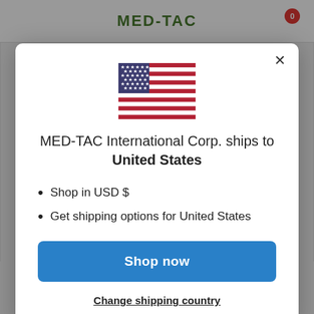MED-TAC
[Figure (illustration): US flag emoji / icon displayed at top center of modal]
MED-TAC International Corp. ships to United States
Shop in USD $
Get shipping options for United States
Shop now
Change shipping country
World's most advanced and secure website encryption.